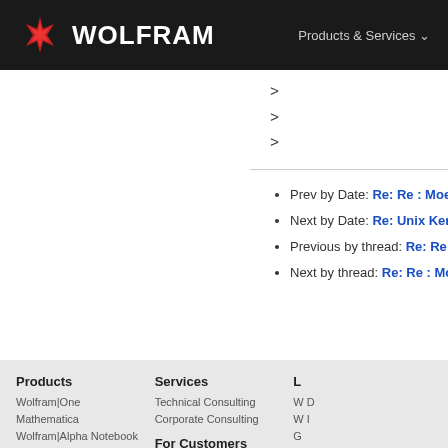WOLFRAM | Products & Services
>
>
>
Prev by Date: Re: Re : Moebius strip
Next by Date: Re: Unix Kernel with Winde
Previous by thread: Re: Re : Moebius stri
Next by thread: Re: Re : Moebius strip
Products: Wolfram|One, Mathematica, Wolfram|Alpha Notebook Edition, Wolfram|Alpha Pro, Mobile Apps, Finance Platform | Services: Technical Consulting, Corporate Consulting | For Customers: Online Store, Product Registration, Product Downloads